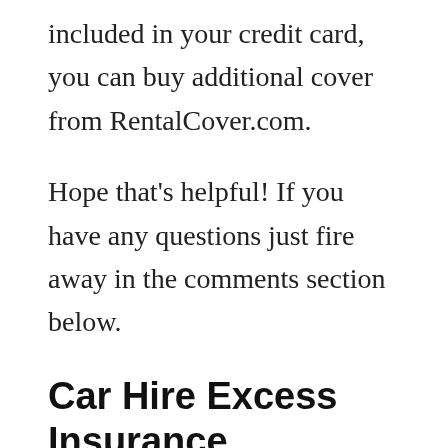included in your credit card, you can buy additional cover from RentalCover.com.
Hope that's helpful! If you have any questions just fire away in the comments section below.
Car Hire Excess Insurance
If you're traveling in Europe and renting a car, it is much wiser to get an insurance policy from a third party rather than from